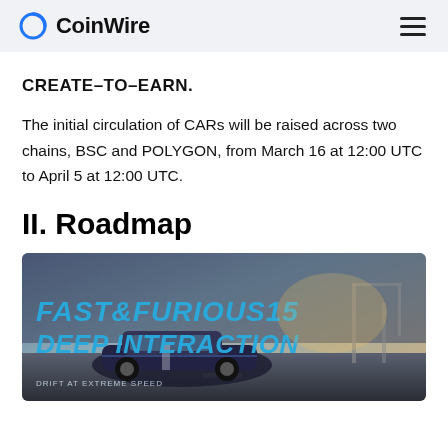CoinWire
CREATE-TO-EARN.
The initial circulation of CARs will be raised across two chains, BSC and POLYGON, from March 16 at 12:00 UTC to April 5 at 12:00 UTC.
II. Roadmap
[Figure (photo): Promotional image for Fast & Furious 15 Deep Interaction game/project, showing a sports car on a road with text 'FAST&FURIOUS15 DEEP INTERACTION' and 'DRIFT AT EXTREME SPEED']